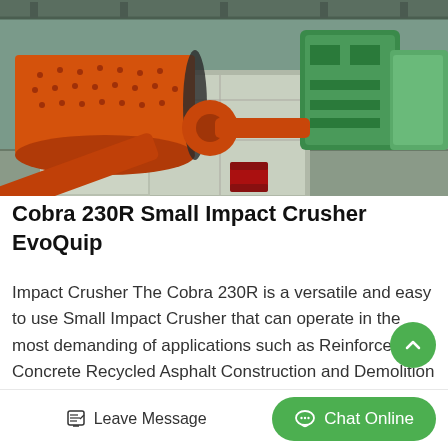[Figure (photo): Industrial mining/crushing equipment in a warehouse setting. Large orange cylindrical ball mill on the left, green industrial machinery on the right, concrete blocks in the foreground, orange pipe and red barrel visible at the bottom.]
Cobra 230R Small Impact Crusher EvoQuip
Impact Crusher The Cobra 230R is a versatile and easy to use Small Impact Crusher that can operate in the most demanding of applications such as Reinforced Concrete Recycled Asphalt Construction and Demolition waste and...